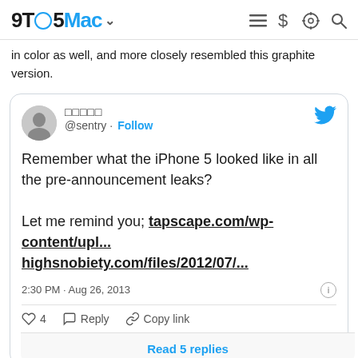9TO5Mac
in color as well, and more closely resembled this graphite version.
[Figure (screenshot): Embedded tweet from @sentry dated Aug 26, 2013 reading: Remember what the iPhone 5 looked like in all the pre-announcement leaks? Let me remind you; tapscape.com/wp-content/upl... highsnobiety.com/files/2012/07/... with 4 likes, Reply, Copy link, and Read 5 replies actions.]